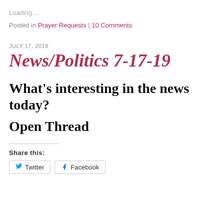Loading…
Posted in Prayer Requests | 10 Comments
JULY 17, 2019
News/Politics 7-17-19
What's interesting in the news today?
Open Thread
Share this:
Twitter   Facebook